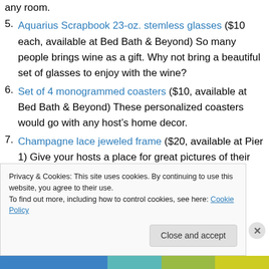any room.
5. Aquarius Scrapbook 23-oz. stemless glasses ($10 each, available at Bed Bath & Beyond) So many people brings wine as a gift. Why not bring a beautiful set of glasses to enjoy with the wine?
6. Set of 4 monogrammed coasters ($10, available at Bed Bath & Beyond) These personalized coasters would go with any host’s home decor.
7. Champagne lace jeweled frame ($20, available at Pier 1) Give your hosts a place for great pictures of their get-togethers with this timeless frame.
Privacy & Cookies: This site uses cookies. By continuing to use this website, you agree to their use.
To find out more, including how to control cookies, see here: Cookie Policy
Close and accept